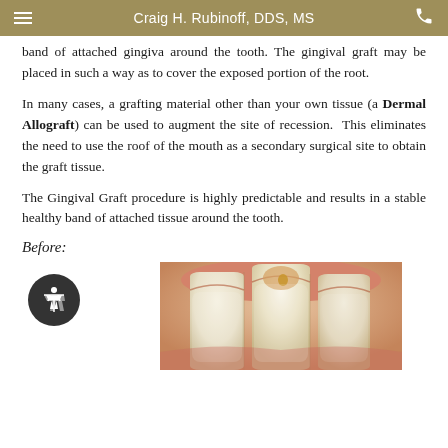Craig H. Rubinoff, DDS, MS
band of attached gingiva around the tooth. The gingival graft may be placed in such a way as to cover the exposed portion of the root.
In many cases, a grafting material other than your own tissue (a Dermal Allograft) can be used to augment the site of recession. This eliminates the need to use the roof of the mouth as a secondary surgical site to obtain the graft tissue.
The Gingival Graft procedure is highly predictable and results in a stable healthy band of attached tissue around the tooth.
Before:
[Figure (photo): Clinical photo showing teeth with gingival recession before treatment, close-up view of anterior teeth with exposed root surfaces]